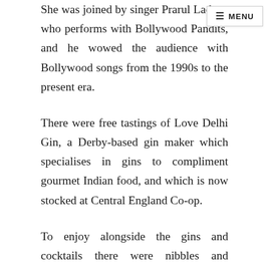She was joined by singer Pratul Ladwa, who performs with Bollywood Pandits, and he wowed the audience with Bollywood songs from the 1990s to the present era.
There were free tastings of Love Delhi Gin, a Derby-based gin maker which specialises in gins to compliment gourmet Indian food, and which is now stocked at Central England Co-op.
To enjoy alongside the gins and cocktails there were nibbles and chicken and vegetarian curry samples designed to complement the drinks, while representatives from Love Delhi Gin gave insights